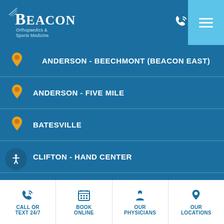[Figure (logo): Beacon Orthopaedics & Sports Medicine logo with stylized beacon lines above text]
ANDERSON - BEECHMONT (BEACON EAST)
ANDERSON - FIVE MILE
BATESVILLE
CLIFTON - HAND CENTER
CRESTVIEW HILLS
DAYTON (MIAMISBURG)
ERLANGER
CALL OR TEXT 24/7   BOOK ONLINE   OUR PHYSICIANS   OUR LOCATIONS